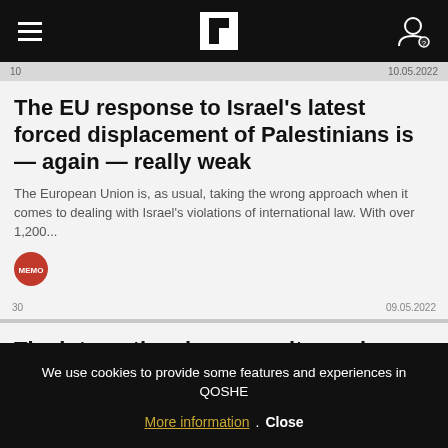Flipboard navigation bar
10    10.05.2022
The EU response to Israel's latest forced displacement of Palestinians is — again — really weak
The European Union is, as usual, taking the wrong approach when it comes to dealing with Israel's violations of international law. With over 1,200...
[Figure (logo): MEMO source badge - red circle logo]
30    09.05.2022
The international community works against anti-colonial resistance in Palestine
We use cookies to provide some features and experiences in QOSHE
More information . Close